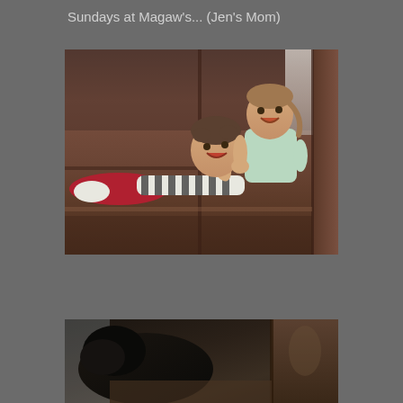Sundays at Magaw's... (Jen's Mom)
[Figure (photo): Two young children lying and sitting on a dark brown leather couch. A boy in a striped shirt is lying across the couch laughing, and a girl in a light green outfit is sitting beside him smiling.]
[Figure (photo): Partial view of a dark-colored pet (likely a dog or cat) on a leather couch, with the couch arm visible on the right side.]